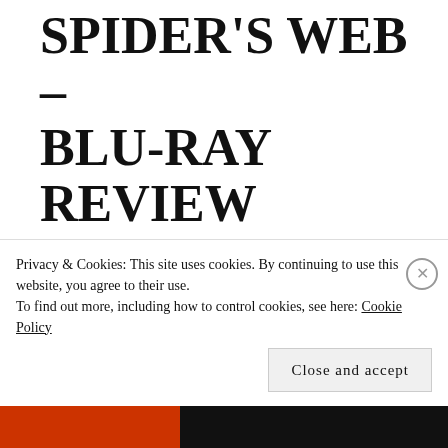SPIDER'S WEB – BLU-RAY REVIEW
Posted on 25 Mar 2019
The Girl in the Spider's Web came out last November, but for various reasons it bombed at the international box office. It's the sequel to The Girl with the Dragon Tattoo, and was intended as a "soft reboot" because both the first film's director David Fincher and its
Privacy & Cookies: This site uses cookies. By continuing to use this website, you agree to their use.
To find out more, including how to control cookies, see here: Cookie Policy
Close and accept